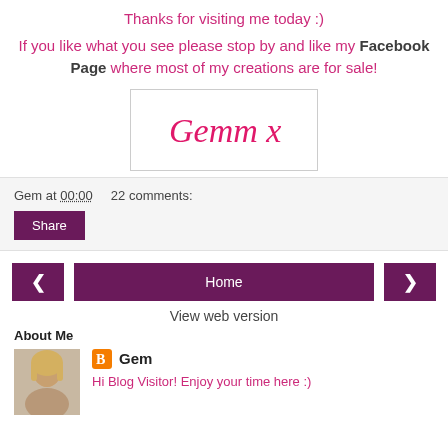Thanks for visiting me today :)
If you like what you see please stop by and like my Facebook Page where most of my creations are for sale!
[Figure (other): Handwritten signature reading 'Gemm x' in pink cursive inside a bordered box]
Gem at 00:00   22 comments:
Share
< Home >
View web version
About Me
[Figure (photo): Profile photo of a blonde woman]
Gem
Hi Blog Visitor! Enjoy your time here :)